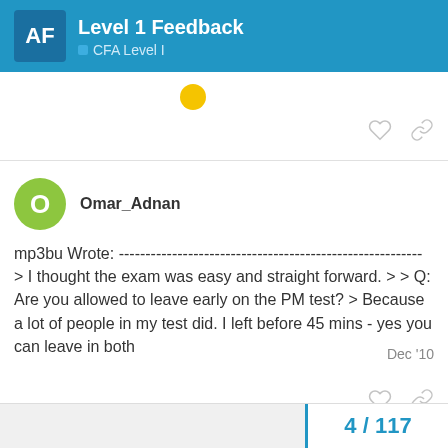Level 1 Feedback — CFA Level I
Omar_Adnan Dec '10
mp3bu Wrote: --------------------------------------------------------- > I thought the exam was easy and straight forward. > > Q: Are you allowed to leave early on the PM test? > Because a lot of people in my test did. I left before 45 mins - yes you can leave in both
4 / 117